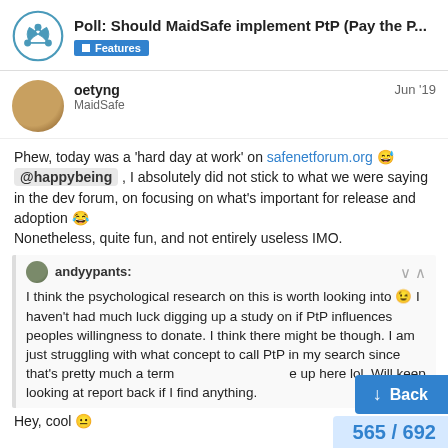Poll: Should MaidSafe implement PtP (Pay the P... | Features
oetyng MaidSafe Jun '19
Phew, today was a 'hard day at work' on safenetforum.org 😅 @happybeing , I absolutely did not stick to what we were saying in the dev forum, on focusing on what's important for release and adoption 😂 Nonetheless, quite fun, and not entirely useless IMO.
andyypants: I think the psychological research on this is worth looking into 😉 I haven't had much luck digging up a study on if PtP influences peoples willingness to donate. I think there might be though. I am just struggling with what concept to call PtP in my search since that's pretty much a term made up here lol. Will keep looking at report back if I find anything.
Hey, cool 😐